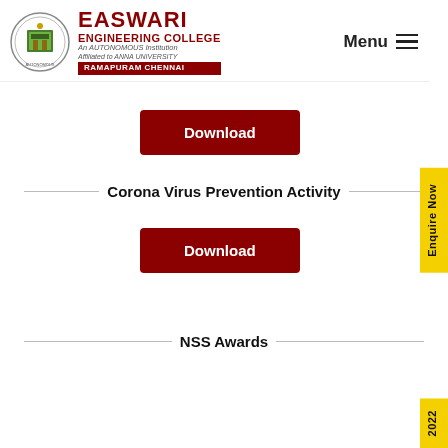[Figure (logo): Easwari Engineering College circular logo with college emblem]
EASWARI ENGINEERING COLLEGE
An AUTONOMOUS Institution
Affiliated to ANNA UNIVERSITY
RAMAPURUM CHENNAI
Menu
Download
Corona Virus Prevention Activity
Download
NSS Awards
Enquire Now
2022